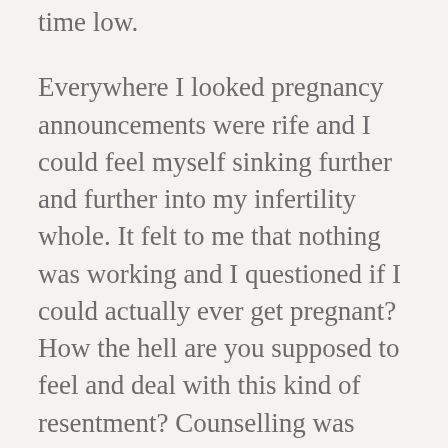time low.
Everywhere I looked pregnancy announcements were rife and I could feel myself sinking further and further into my infertility whole. It felt to me that nothing was working and I questioned if I could actually ever get pregnant? How the hell are you supposed to feel and deal with this kind of resentment? Counselling was offered as part of my treatment but I never took up the offer. Probably happy to dwell in my own pity. Of course I had every faith in our consultant, he had covered all the bases physically but you do start to self diagnose and convince yourself that your body just can't do it. Our consultant is great and ultimately was trying to help us